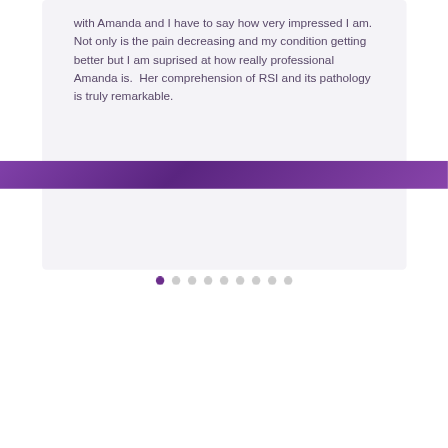with Amanda and I have to say how very impressed I am.  Not only is the pain decreasing and my condition getting better but I am suprised at how really professional Amanda is.  Her comprehension of RSI and its pathology is truly remarkable.
[Figure (other): Pagination dots indicator with 9 dots, first dot filled dark purple, remaining dots light grey]